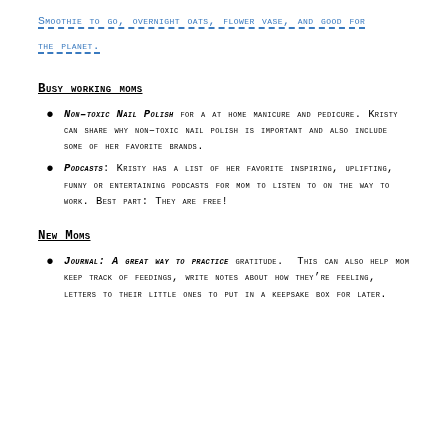SMOOTHIE TO GO, OVERNIGHT OATS, FLOWER VASE, AND GOOD FOR THE PLANET.
BUSY WORKING MOMS
NON-TOXIC NAIL POLISH FOR A AT HOME MANICURE AND PEDICURE. KRISTY CAN SHARE WHY NON-TOXIC NAIL POLISH IS IMPORTANT AND ALSO INCLUDE SOME OF HER FAVORITE BRANDS.
PODCASTS: KRISTY HAS A LIST OF HER FAVORITE INSPIRING, UPLIFTING, FUNNY OR ENTERTAINING PODCASTS FOR MOM TO LISTEN TO ON THE WAY TO WORK. BEST PART: THEY ARE FREE!
NEW MOMS
JOURNAL: A GREAT WAY TO PRACTICE GRATITUDE. THIS CAN ALSO HELP MOM KEEP TRACK OF FEEDINGS, WRITE NOTES ABOUT HOW THEY'RE FEELING, LETTERS TO THEIR LITTLE ONES TO PUT IN A KEEPSAKE BOX FOR LATER.